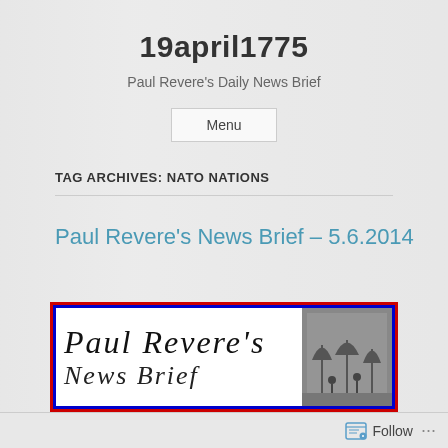19april1775
Paul Revere's Daily News Brief
Menu
TAG ARCHIVES: NATO NATIONS
Paul Revere’s News Brief – 5.6.2014
[Figure (illustration): Paul Revere's News Brief banner image with italic serif text reading 'Paul Revere's' and below 'News Brief' on white background with red outer border and blue inner border, with a small historical black-and-white photo on the right side]
Follow